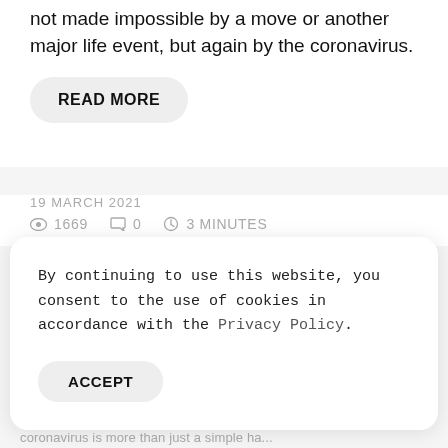not made impossible by a move or another major life event, but again by the coronavirus.
READ MORE
19 MARCH 2021
👁 1669   💬 0   🕐 3 MINUTES
By continuing to use this website, you consent to the use of cookies in accordance with the Privacy Policy.
ACCEPT
coronavirus is more than just a simple ha...